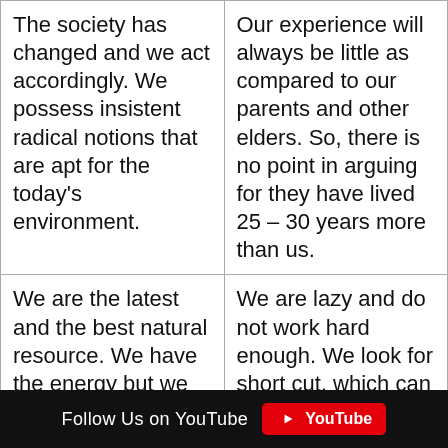| The society has changed and we act accordingly. We possess insistent radical notions that are apt for the today's environment. | Our experience will always be little as compared to our parents and other elders. So, there is no point in arguing for they have lived 25 – 30 years more than us. |
| We are the latest and the best natural resource. We have the energy but we | We are lazy and do not work hard enough. We look for short cut, which can |
Follow Us on YouTube